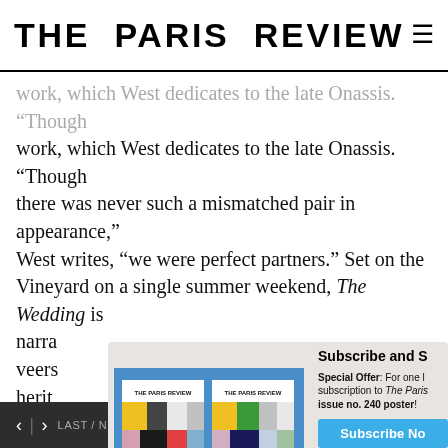THE PARIS REVIEW
work, which West dedicates to the late Onassis. “Though there was never such a mismatched pair in appearance,” West writes, “we were perfect partners.” Set on the Vineyard on a single summer weekend, The Wedding is narrated… veers… heritage… instance… Winfrey… not least… what… in the…
[Figure (photo): Two copies of The Paris Review magazine issue no. 240, showing colorful block-pattern covers on a blue background]
Subscribe and S… Special Offer: For one l… subscription to The Paris… issue no. 240 poster!
In the decades between her two novels, West published short stories and some of the first black fiction…
< > LAST / NEXT ARTICLE    SHARE